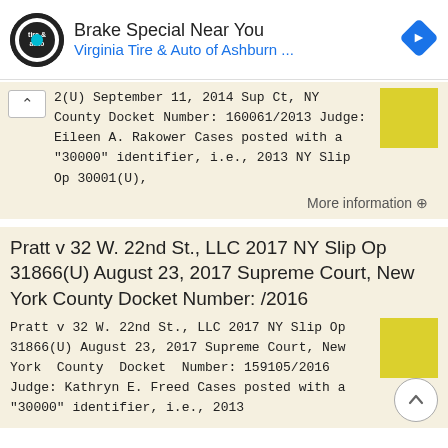[Figure (screenshot): Advertisement banner for Virginia Tire & Auto of Ashburn - Brake Special Near You]
2(U) September 11, 2014 Sup Ct, NY County Docket Number: 160061/2013 Judge: Eileen A. Rakower Cases posted with a "30000" identifier, i.e., 2013 NY Slip Op 30001(U),
More information →
Pratt v 32 W. 22nd St., LLC 2017 NY Slip Op 31866(U) August 23, 2017 Supreme Court, New York County Docket Number: /2016
Pratt v 32 W. 22nd St., LLC 2017 NY Slip Op 31866(U) August 23, 2017 Supreme Court, New York County Docket Number: 159105/2016 Judge: Kathryn E. Freed Cases posted with a "30000" identifier, i.e., 2013